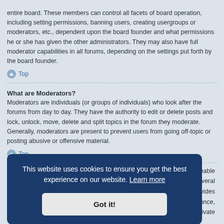entire board. These members can control all facets of board operation, including setting permissions, banning users, creating usergroups or moderators, etc., dependent upon the board founder and what permissions he or she has given the other administrators. They may also have full moderator capabilities in all forums, depending on the settings put forth by the board founder.
Top
What are Moderators?
Moderators are individuals (or groups of individuals) who look after the forums from day to day. They have the authority to edit or delete posts and lock, unlock, move, delete and split topics in the forum they moderate. Generally, moderators are present to prevent users from going off-topic or posting abusive or offensive material.
Top
...eable ...several ...provides ...at once, ...a private
Top
[Figure (other): Cookie consent banner overlay with dark blue background, text 'This website uses cookies to ensure you get the best experience on our website. Learn more' and a 'Got it!' button.]